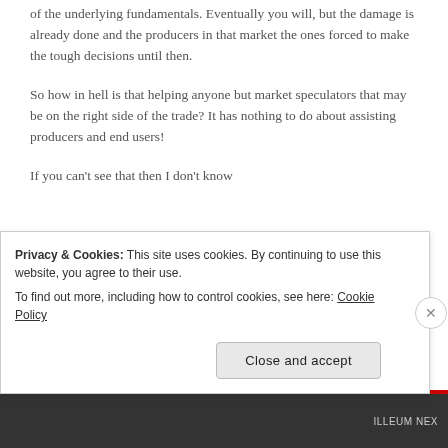of the underlying fundamentals. Eventually you will, but the damage is already done and the producers in that market the ones forced to make the tough decisions until then.
So how in hell is that helping anyone but market speculators that may be on the right side of the trade? It has nothing to do about assisting producers and end users!
If you can't see that then I don't know
Privacy & Cookies: This site uses cookies. By continuing to use this website, you agree to their use.
To find out more, including how to control cookies, see here: Cookie Policy